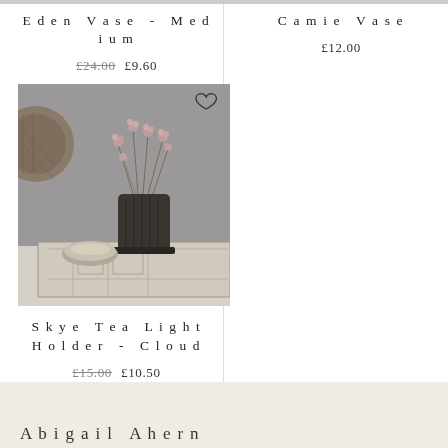Eden Vase - Medium
£24.00  £9.60
Camie Vase
£12.00
[Figure (photo): A dark ribbed ceramic vase holding dried pink flowers, sitting on a patterned textile surface next to a small ceramic bowl. A woven basket is visible in the upper left. Heart/wishlist icon in top right.]
Skye Tea Light Holder - Cloud
£15.00  £10.50
Abigail Ahern